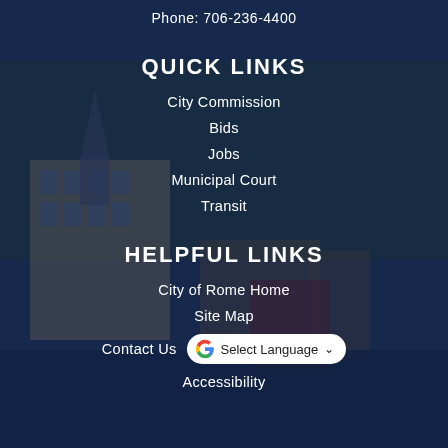Phone: 706-236-4400
QUICK LINKS
City Commission
Bids
Jobs
Municipal Court
Transit
HELPFUL LINKS
City of Rome Home
Site Map
Contact Us
Accessibility